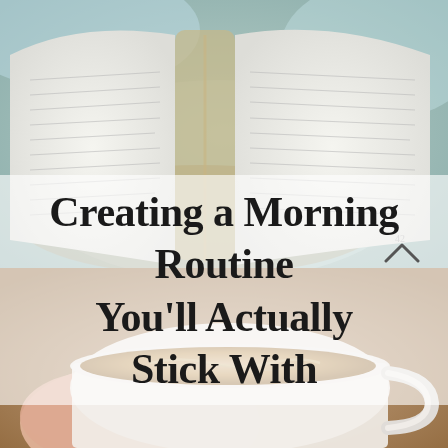[Figure (photo): Background composite image: top half shows an open book on a teal/blue surface, bottom portion shows a hand holding a white mug filled with a latte or hot chocolate. A semi-transparent white band overlays the middle third.]
Creating a Morning Routine You'll Actually Stick With